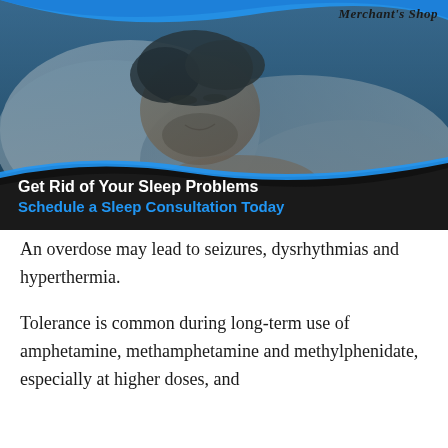[Figure (photo): A man sleeping peacefully on a pillow, with a blue tinted photo overlay and wave-shaped dark footer. A logo reading 'Merchant's Shop' appears in the top right corner.]
Get Rid of Your Sleep Problems
Schedule a Sleep Consultation Today
An overdose may lead to seizures, dysrhythmias and hyperthermia.
Tolerance is common during long-term use of amphetamine, methamphetamine and methylphenidate, especially at higher doses, and